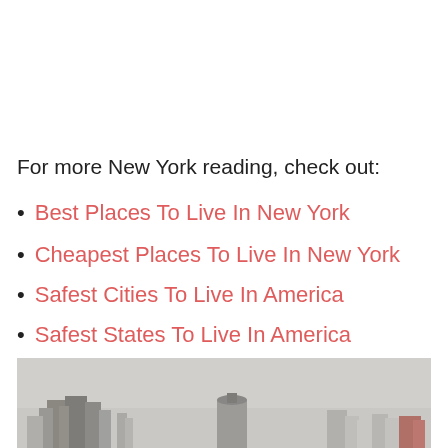For more New York reading, check out:
Best Places To Live In New York
Cheapest Places To Live In New York
Safest Cities To Live In America
Safest States To Live In America
[Figure (photo): Hazy cityscape/skyline of a New York city with buildings visible against a grey sky]